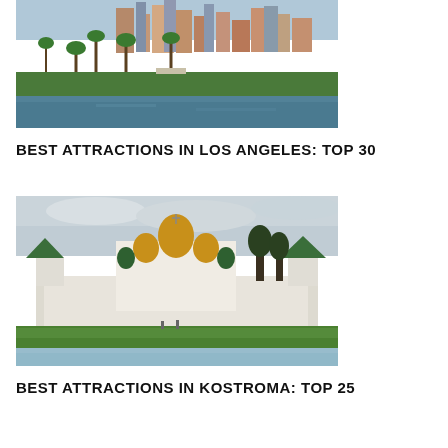[Figure (photo): Aerial/ground level view of Los Angeles with palm trees, a lake in the foreground, green grass and city skyline with tall buildings in the background]
BEST ATTRACTIONS IN LOS ANGELES: TOP 30
[Figure (photo): Russian Orthodox monastery (likely Ipatiev Monastery in Kostroma) with golden and green onion domes, white walls, green grass in foreground and river/water visible]
BEST ATTRACTIONS IN KOSTROMA: TOP 25